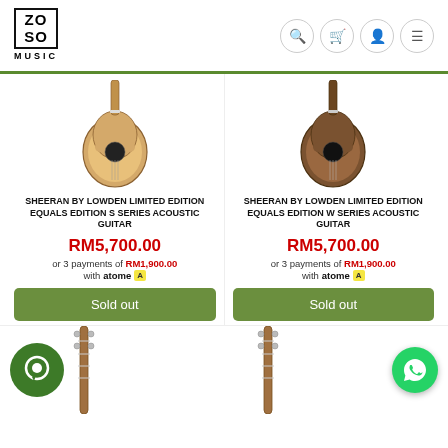[Figure (logo): ZOSO MUSIC logo in a bordered box]
[Figure (screenshot): Navigation icons: search, cart, user, menu]
[Figure (photo): Light natural acoustic guitar (S series) - partial view, upper body]
SHEERAN BY LOWDEN LIMITED EDITION EQUALS EDITION S SERIES ACOUSTIC GUITAR
RM5,700.00
or 3 payments of RM1,900.00 with atome
Sold out
[Figure (photo): Dark brown acoustic guitar (W series) - partial view, upper body]
SHEERAN BY LOWDEN LIMITED EDITION EQUALS EDITION W SERIES ACOUSTIC GUITAR
RM5,700.00
or 3 payments of RM1,900.00 with atome
Sold out
[Figure (photo): Green chat circle icon (bottom left) with partial guitar neck visible]
[Figure (photo): Partial guitar neck visible (bottom right) with WhatsApp green circle button]